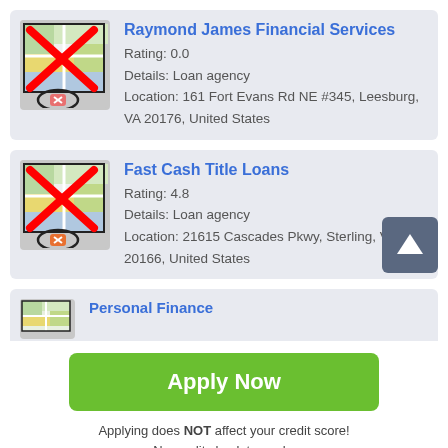[Figure (screenshot): App listing card for Raymond James Financial Services with map thumbnail (broken/crossed out), rating 0.0, loan agency, location details]
Raymond James Financial Services
Rating: 0.0
Details: Loan agency
Location: 161 Fort Evans Rd NE #345, Leesburg, VA 20176, United States
[Figure (screenshot): App listing card for Fast Cash Title Loans with map thumbnail (broken/crossed out), rating 4.8, loan agency, location details]
Fast Cash Title Loans
Rating: 4.8
Details: Loan agency
Location: 21615 Cascades Pkwy, Sterling, VA 20166, United States
Personal Finance
Apply Now
Applying does NOT affect your credit score!
No credit check to apply.